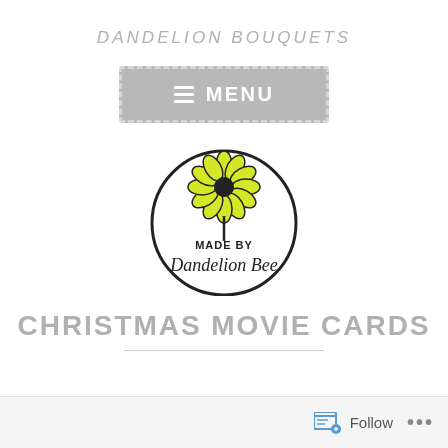DANDELION BOUQUETS
[Figure (other): Grey rectangle menu button with dashed border, hamburger icon and MENU text in white]
[Figure (logo): Made by Dandelion Bee logo: circular border with yellow/black flower dandelion graphic above bold 'MADE BY' text and cursive 'Dandelion Bee' text]
CHRISTMAS MOVIE CARDS
Follow ...